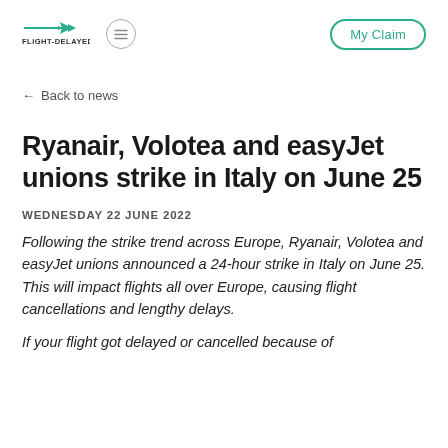FLIGHT-DELAYED.CO.UK | My Claim
← Back to news
Ryanair, Volotea and easyJet unions strike in Italy on June 25
WEDNESDAY 22 JUNE 2022
Following the strike trend across Europe, Ryanair, Volotea and easyJet unions announced a 24-hour strike in Italy on June 25. This will impact flights all over Europe, causing flight cancellations and lengthy delays.
If your flight got delayed or cancelled because of